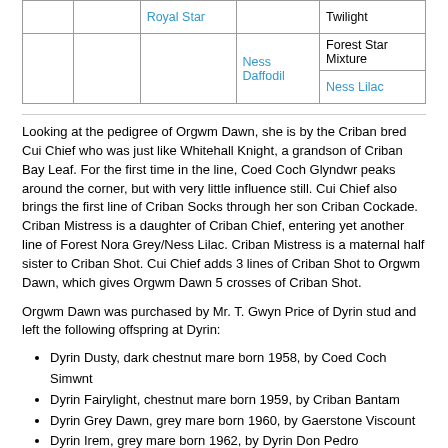|  |  | Royal Star |  | Twilight |
|  |  |  | Ness Daffodil | Forest Star Mixture |
|  |  |  |  | Ness Lilac |
Looking at the pedigree of Orgwm Dawn, she is by the Criban bred Cui Chief who was just like Whitehall Knight, a grandson of Criban Bay Leaf. For the first time in the line, Coed Coch Glyndwr peaks around the corner, but with very little influence still. Cui Chief also brings the first line of Criban Socks through her son Criban Cockade. Criban Mistress is a daughter of Criban Chief, entering yet another line of Forest Nora Grey/Ness Lilac. Criban Mistress is a maternal half sister to Criban Shot. Cui Chief adds 3 lines of Criban Shot to Orgwm Dawn, which gives Orgwm Dawn 5 crosses of Criban Shot.
Orgwm Dawn was purchased by Mr. T. Gwyn Price of Dyrin stud and left the following offspring at Dyrin:
Dyrin Dusty, dark chestnut mare born 1958, by Coed Coch Simwnt
Dyrin Fairylight, chestnut mare born 1959, by Criban Bantam
Dyrin Grey Dawn, grey mare born 1960, by Gaerstone Viscount
Dyrin Irem, grey mare born 1962, by Dyrin Don Pedro
Dyrin Karina, grey mare born 1963, by Fayre Romeo